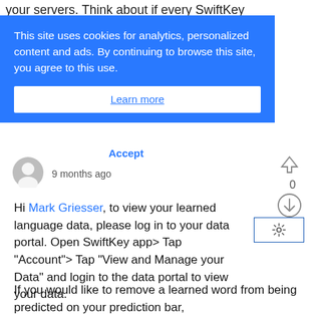your servers. Think about if every SwiftKey
[Figure (screenshot): Cookie consent banner with blue background. Text: 'This site uses cookies for analytics, personalized content and ads. By continuing to browse this site, you agree to this use.' with a white 'Learn more' button below.]
Accept
9 months ago
Hi Mark Griesser, to view your learned language data, please log in to your data portal. Open SwiftKey app> Tap "Account"> Tap "View and Manage your Data" and login to the data portal to view your data.
If you would like to remove a learned word from being predicted on your prediction bar,